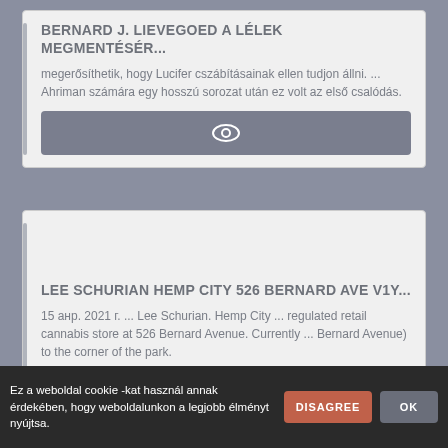BERNARD J. LIEVEGOED A LÉLEK MEGMENTÉSÉR...
megerősíthetik, hogy Lucifer cszábításainak ellen tudjon állni. ... Ahriman számára egy hosszú sorozat után ez volt az első csalódás.
[Figure (other): Eye/view icon button in grey rounded rectangle]
LEE SCHURIAN HEMP CITY 526 BERNARD AVE V1Y...
15 анр. 2021 г. ... Lee Schurian. Hemp City ... regulated retail cannabis store at 526 Bernard Avenue. Currently ... Bernard Avenue) to the corner of the park.
[Figure (other): Eye/view icon button in grey rounded rectangle]
Ez a weboldal cookie -kat használ annak érdekében, hogy weboldalunkon a legjobb élményt nyújtsa.
DISAGREE
OK